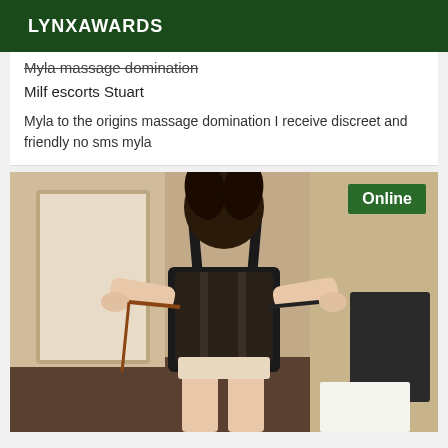LYNXAWARDS
Myla massage domination
Milf escorts Stuart
Myla to the origins massage domination I receive discreet and friendly no sms myla
[Figure (photo): Woman in black leather corset and black camisole top, holding straps, standing in a room. Online badge visible in top right corner.]